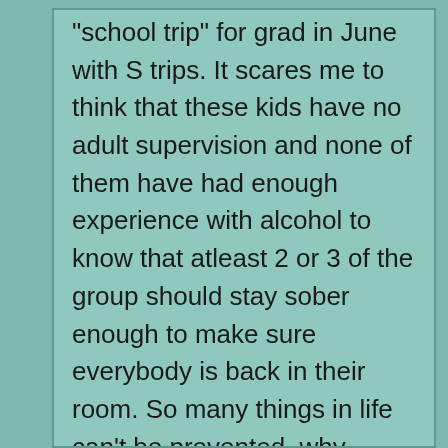"school trip" for grad in June with S trips. It scares me to think that these kids have no adult supervision and none of them have had enough experience with alcohol to know that atleast 2 or 3 of the group should stay sober enough to make sure everybody is back in their room. So many things in life can't be prevented, why would you let your kid go on a trip like this where you are setting them up for trouble. We've been on enough trips to know that the bartenders usually don't care who they serve. For example, our friend's 5 year old little guy wanted a strawberry